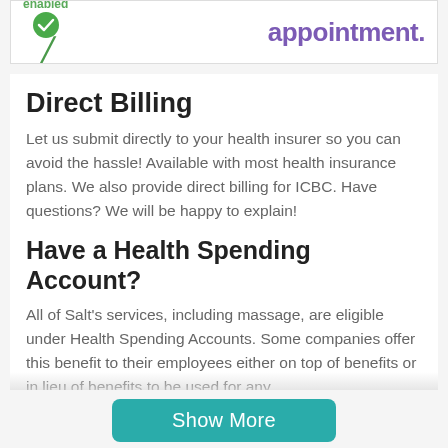[Figure (other): Top banner with 'enabled' text and green checkmark icon on left, and partial purple bold 'appointment.' text on the right, with a green diagonal slash below the icon.]
Direct Billing
Let us submit directly to your health insurer so you can avoid the hassle! Available with most health insurance plans. We also provide direct billing for ICBC. Have questions? We will be happy to explain!
Have a Health Spending Account?
All of Salt's services, including massage, are eligible under Health Spending Accounts. Some companies offer this benefit to their employees either on top of benefits or in lieu of benefits to be used for any
Show More